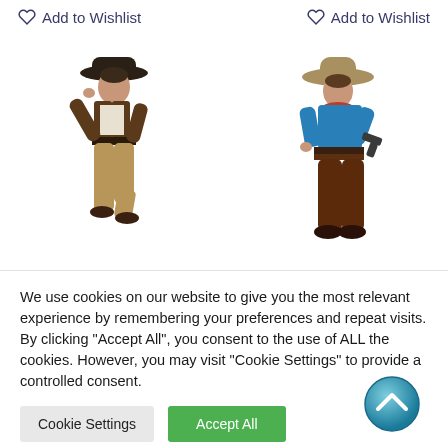Add to Wishlist
Add to Wishlist
[Figure (photo): Cowboy figurine wearing dark hat and red vest, in a walking pose]
[Figure (photo): Cowboy figurine wearing tan hat and blue shirt, holding a gun]
We use cookies on our website to give you the most relevant experience by remembering your preferences and repeat visits. By clicking "Accept All", you consent to the use of ALL the cookies. However, you may visit "Cookie Settings" to provide a controlled consent.
Cookie Settings
Accept All